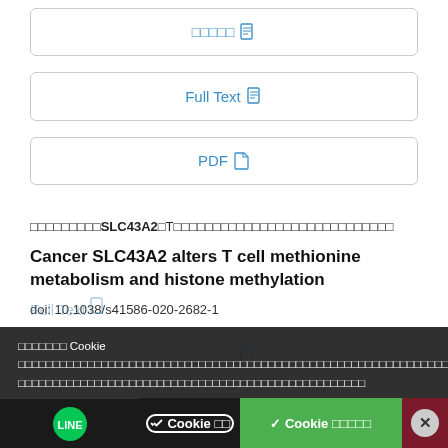[Figure (screenshot): Button box with Thai text and document icon link]
[Figure (screenshot): Full Text button with document icon]
[Figure (screenshot): PDF button with document icon]
การแสดงออกของSLC43A2ในTเซลล์ส่งผลต่อการเผาผลาญเมทไธโอนีนและการเมทิเลชันฮิสโตน
Cancer SLC43A2 alters T cell methionine metabolism and histone methylation
doi: 10.1038/s41586-020-2682-1
[Figure (screenshot): Thai text button with document icon]
การใช้งาน Cookie เว็บไซต์นี้ใช้คุกกี้เพื่อให้บริการแก่คุณ หากคุณยังคงใช้งานเว็บไซต์ต่อไป ถือว่าคุณยอมรับนโยบายการใช้คุกกี้ของเรา